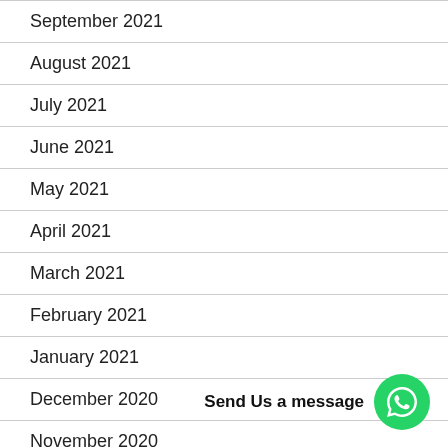September 2021
August 2021
July 2021
June 2021
May 2021
April 2021
March 2021
February 2021
January 2021
December 2020
November 2020
Send Us a message